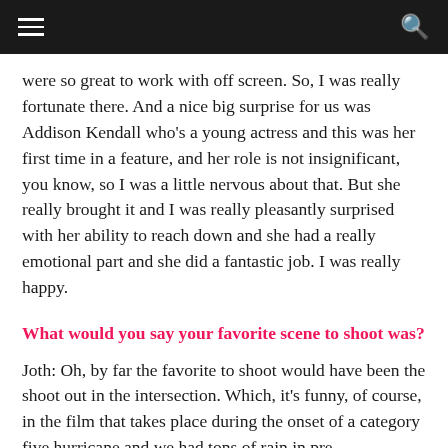navigation bar with hamburger menu and search icon
were so great to work with off screen. So, I was really fortunate there. And a nice big surprise for us was Addison Kendall who's a young actress and this was her first time in a feature, and her role is not insignificant, you know, so I was a little nervous about that. But she really brought it and I was really pleasantly surprised with her ability to reach down and she had a really emotional part and she did a fantastic job. I was really happy.
What would you say your favorite scene to shoot was?
Joth: Oh, by far the favorite to shoot would have been the shoot out in the intersection. Which, it's funny, of course, in the film that takes place during the onset of a category five hurricane and we had tons of rain in pre